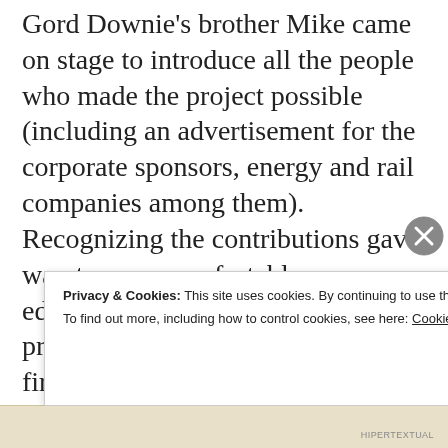Gord Downie's brother Mike came on stage to introduce all the people who made the project possible (including an advertisement for the corporate sponsors, energy and rail companies among them). Recognizing the contributions gave way to an uncomfortable editorializing of the show. It was proclaimed that we all just took our first giant step towards genuine reconciliation. For me, this reflected a sense of self-importance, which betrayed the spirit of much that came
Privacy & Cookies: This site uses cookies. By continuing to use this website, you agree to their use. To find out more, including how to control cookies, see here: Cookie Policy
Close and accept